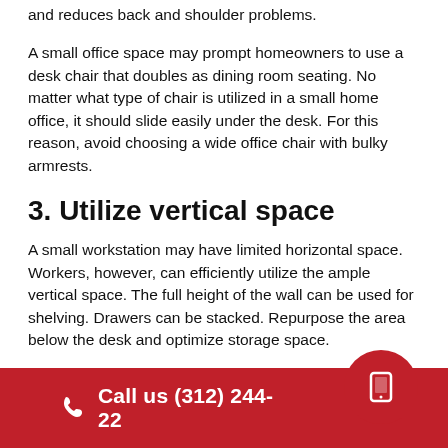and reduces back and shoulder problems.
A small office space may prompt homeowners to use a desk chair that doubles as dining room seating. No matter what type of chair is utilized in a small home office, it should slide easily under the desk. For this reason, avoid choosing a wide office chair with bulky armrests.
3. Utilize vertical space
A small workstation may have limited horizontal space. Workers, however, can efficiently utilize the ample vertical space. The full height of the wall can be used for shelving. Drawers can be stacked. Repurpose the area below the desk and optimize storage space.
Call us (312) 244-22...